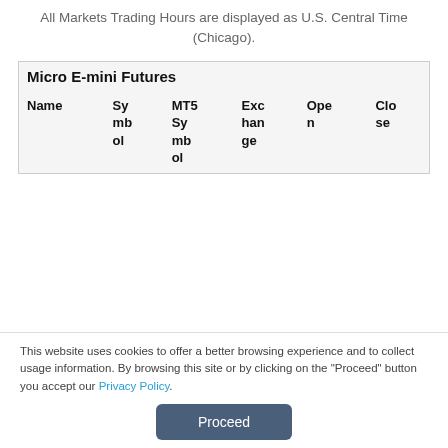All Markets Trading Hours are displayed as U.S. Central Time (Chicago).
| Name | Symbol | MT5 Symbol | Exchange | Open | Close |
| --- | --- | --- | --- | --- | --- |
| Micro E-mini Futures |  |  |  |  |  |
This website uses cookies to offer a better browsing experience and to collect usage information. By browsing this site or by clicking on the "Proceed" button you accept our Privacy Policy.